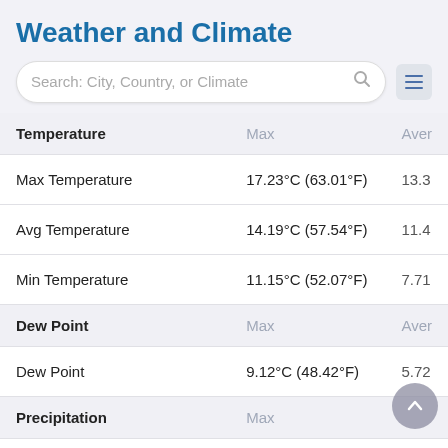Weather and Climate
Search: City, Country, or Climate
| Temperature | Max | Aver... |
| --- | --- | --- |
| Max Temperature | 17.23°C (63.01°F) | 13.3... |
| Avg Temperature | 14.19°C (57.54°F) | 11.4... |
| Min Temperature | 11.15°C (52.07°F) | 7.71... |
| Dew Point | Max | Aver... |
| Dew Point | 9.12°C (48.42°F) | 5.72... |
| Precipitation | Max | ... |
| Precipitation | 16.62mm | 0.65in | 2.42... |